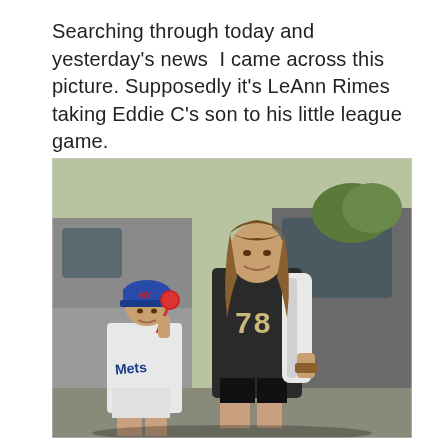Searching through today and yesterday's news  I came across this picture. Supposedly it's LeAnn Rimes taking Eddie C's son to his little league game.
[Figure (photo): A woman wearing a black jersey with the number 78 and black leather shorts, carrying a white bag over her shoulder, stands next to a young boy wearing a blue baseball cap and a white baseball uniform, holding a red lollipop. They are in a parking lot with dark SUVs in the background.]